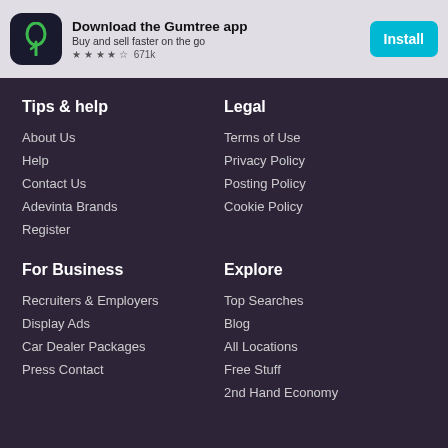[Figure (screenshot): Gumtree app download banner with app icon, title, subtitle, star rating, review count, and Install button]
Tips & help
About Us
Help
Contact Us
Adevinta Brands
Register
Legal
Terms of Use
Privacy Policy
Posting Policy
Cookie Policy
For Business
Recruiters & Employers
Display Ads
Car Dealer Packages
Press Contact
Explore
Top Searches
Blog
All Locations
Free Stuff
2nd Hand Economy